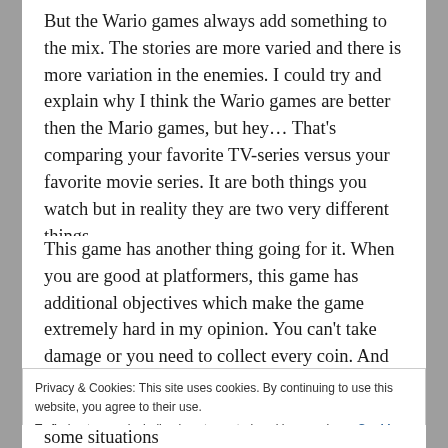But the Wario games always add something to the mix. The stories are more varied and there is more variation in the enemies. I could try and explain why I think the Wario games are better then the Mario games, but hey… That's comparing your favorite TV-series versus your favorite movie series. It are both things you watch but in reality they are two very different things.
This game has another thing going for it. When you are good at platformers, this game has additional objectives which make the game extremely hard in my opinion. You can't take damage or you need to collect every coin. And with some brutally placed enemies, that's very difficult.
Privacy & Cookies: This site uses cookies. By continuing to use this website, you agree to their use.
To find out more, including how to control cookies, see here: Cookie Policy
Close and accept
some situations